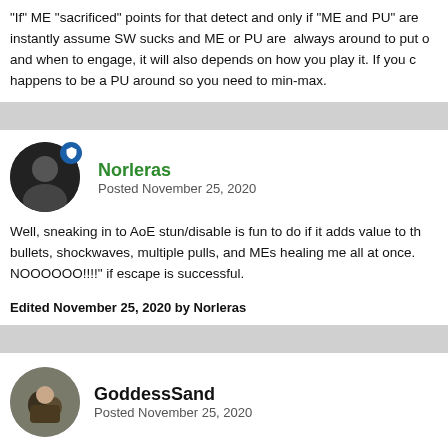"If" ME "sacrificed" points for that detect and only if "ME and PU" are instantly assume SW sucks and ME or PU are  always around to put o and when to engage, it will also depends on how you play it. If you c happens to be a PU around so you need to min-max.
Norleras
Posted November 25, 2020
Well, sneaking in to AoE stun/disable is fun to do if it adds value to th bullets, shockwaves, multiple pulls, and MEs healing me all at once. NOOOOOO!!!!" if escape is successful.
Edited November 25, 2020 by Norleras
GoddessSand
Posted November 25, 2020